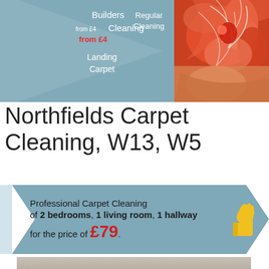[Figure (infographic): Top banner with diamond/chevron shape in grey-blue showing carpet cleaning service categories: Builders Cleaning, Regular Cleaning, from £4, Landing Carpet, alongside a decorative red floral carpet photo on the right.]
Northfields Carpet Cleaning, W13, W5
[Figure (infographic): Promotional banner in grey-blue with chevron shape: Professional Carpet Cleaning of 2 bedrooms, 1 living room, 1 hallway for the price of £79. Yellow thumbs-up icon on right.]
[Figure (photo): Hallway with cleaned carpet, viewed from top of staircase, showing white walls and beige carpet.]